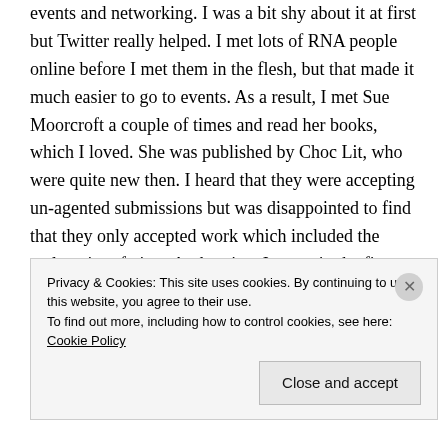events and networking. I was a bit shy about it at first but Twitter really helped. I met lots of RNA people online before I met them in the flesh, but that made it much easier to go to events. As a result, I met Sue Moorcroft a couple of times and read her books, which I loved. She was published by Choc Lit, who were quite new then. I heard that they were accepting un-agented submissions but was disappointed to find that they only accepted work which included the male point of view. At that time I wrote in the first person and didn't think I could write from the male POV. However, I decided to give it a try and rewrote the first three chapters
Privacy & Cookies: This site uses cookies. By continuing to use this website, you agree to their use.
To find out more, including how to control cookies, see here: Cookie Policy
Close and accept